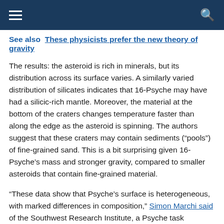See also  These physicists prefer the new theory of gravity
The results: the asteroid is rich in minerals, but its distribution across its surface varies. A similarly varied distribution of silicates indicates that 16-Psyche may have had a silicic-rich mantle. Moreover, the material at the bottom of the craters changes temperature faster than along the edge as the asteroid is spinning. The authors suggest that these craters may contain sediments (“pools”) of fine-grained sand. This is a bit surprising given 16-Psyche’s mass and stronger gravity, compared to smaller asteroids that contain fine-grained material.
“These data show that Psyche’s surface is heterogeneous, with marked differences in composition,” Simon Marchi said of the Southwest Research Institute, a Psyche task researcher who was not involved in the current study. “One of the primary goals of Psyche’s mission is to study the composition of the asteroid…